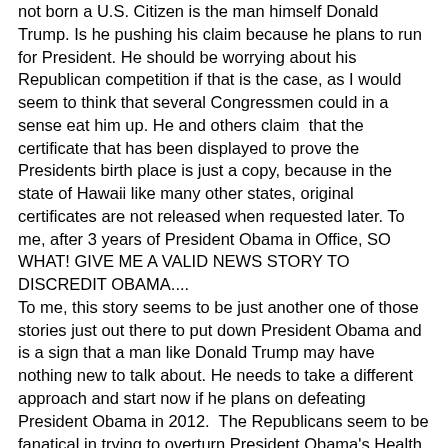not born a U.S. Citizen is the man himself Donald Trump. Is he pushing his claim because he plans to run for President. He should be worrying about his Republican competition if that is the case, as I would seem to think that several Congressmen could in a sense eat him up. He and others claim  that the certificate that has been displayed to prove the Presidents birth place is just a copy, because in the state of Hawaii like many other states, original certificates are not released when requested later. To me, after 3 years of President Obama in Office, SO WHAT! GIVE ME A VALID NEWS STORY TO DISCREDIT OBAMA....
To me, this story seems to be just another one of those stories just out there to put down President Obama and is a sign that a man like Donald Trump may have nothing new to talk about. He needs to take a different approach and start now if he plans on defeating President Obama in 2012.  The Republicans seem to be fanatical in trying to overturn President Obama's Health Care Plan, and dead set in trying to take away benefits from seniors, and to topple Medicare and Medicaid in doing whatever it takes to do so. Just check out Congressman Ryan's proposal for health care. All the talk, and all the hype against Obama-care will be for not,